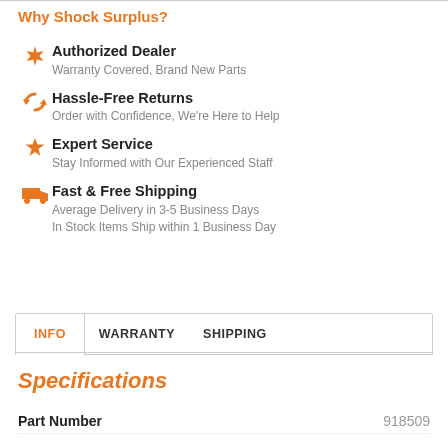Why Shock Surplus?
Authorized Dealer
Warranty Covered, Brand New Parts
Hassle-Free Returns
Order with Confidence, We're Here to Help
Expert Service
Stay Informed with Our Experienced Staff
Fast & Free Shipping
Average Delivery in 3-5 Business Days
In Stock Items Ship within 1 Business Day
INFO  WARRANTY  SHIPPING
Specifications
| Part Number |  |
| --- | --- |
| Part Number | 918509 |